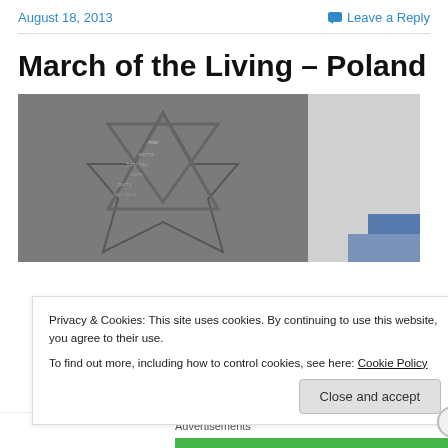August 18, 2013    Leave a Reply
March of the Living – Poland
[Figure (photo): Close-up black and white photograph of a Star of David engraved with Hebrew text, partially overlapping with a lighter image on the right side]
Privacy & Cookies: This site uses cookies. By continuing to use this website, you agree to their use.
To find out more, including how to control cookies, see here: Cookie Policy
Close and accept
Advertisements